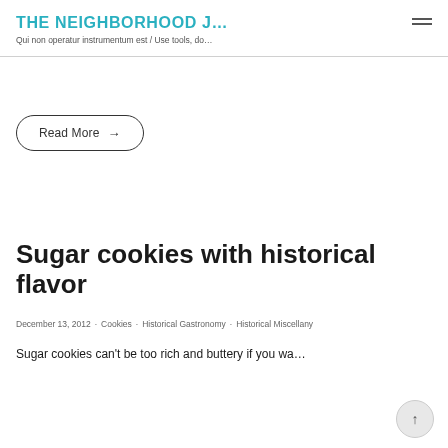THE NEIGHBORHOOD J... | Qui non operatur instrumentum est / Use tools, do…
Read More →
Sugar cookies with historical flavor
December 13, 2012 · Cookies · Historical Gastronomy · Historical Miscellany
Sugar cookies can't be too rich and buttery if you wa…